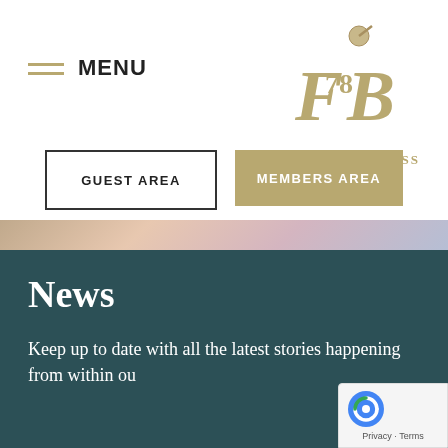MENU
[Figure (logo): i78 Fore Business golf club logo with stylized letters F and B and golf ball, with tagline 'FORE' BUSINESS in gold]
GUEST AREA
MEMBERS AREA
News
Keep up to date with all the latest stories happening from within ou
[Figure (logo): reCAPTCHA badge showing Privacy - Terms]